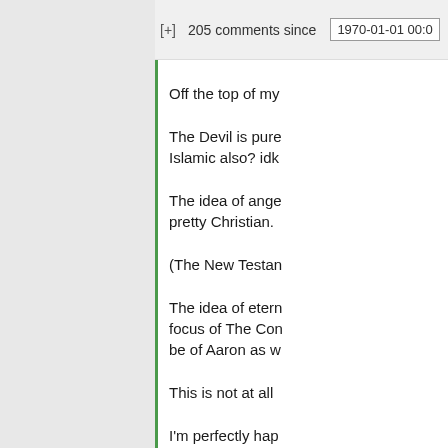[+] 205 comments since 1970-01-01 00:0
Off the top of my
The Devil is pure Islamic also? idk
The idea of ange pretty Christian.
(The New Testan
The idea of etern focus of The Con be of Aaron as w
This is not at all
I'm perfectly hap